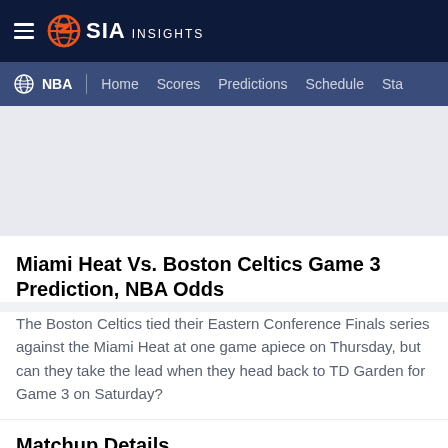SIA INSIGHTS
NBA | Home Scores Predictions Schedule Sta
Miami Heat Vs. Boston Celtics Game 3 Prediction, NBA Odds
The Boston Celtics tied their Eastern Conference Finals series against the Miami Heat at one game apiece on Thursday, but can they take the lead when they head back to TD Garden for Game 3 on Saturday?
Matchup Details